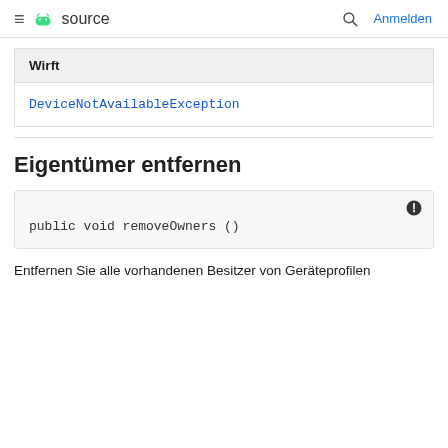≡ source  🔍 Anmelden
| Wirft |
| --- |
| DeviceNotAvailableException |
Eigentümer entfernen
public void removeOwners ()
Entfernen Sie alle vorhandenen Besitzer von Geräteprofilen und lösen ...